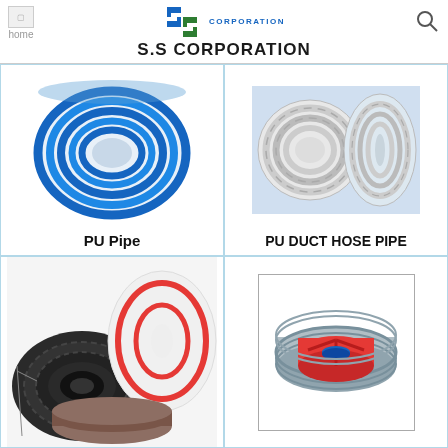S.S CORPORATION
[Figure (photo): Blue PU pipe coiled in a ring]
PU Pipe
[Figure (photo): PU duct hose pipe, white spiral reinforced flexible hose]
PU DUCT HOSE PIPE
[Figure (photo): Various industrial pipes and hoses in rolls including black corrugated pipe, white and red striped pipe]
[Figure (photo): Industrial wheel or pulley with red center and grey rim]